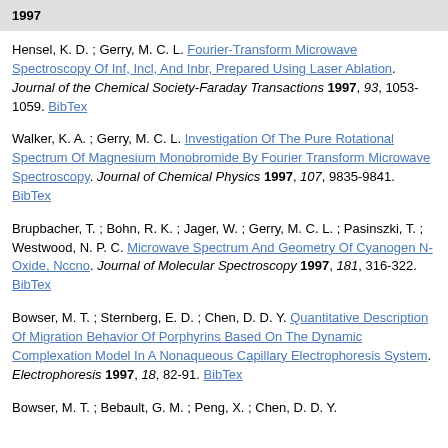1997
Hensel, K. D. ; Gerry, M. C. L. Fourier-Transform Microwave Spectroscopy Of Inf, Incl, And Inbr, Prepared Using Laser Ablation. Journal of the Chemical Society-Faraday Transactions 1997, 93, 1053-1059. BibTex
Walker, K. A. ; Gerry, M. C. L. Investigation Of The Pure Rotational Spectrum Of Magnesium Monobromide By Fourier Transform Microwave Spectroscopy. Journal of Chemical Physics 1997, 107, 9835-9841. BibTex
Brupbacher, T. ; Bohn, R. K. ; Jager, W. ; Gerry, M. C. L. ; Pasinszki, T. ; Westwood, N. P. C. Microwave Spectrum And Geometry Of Cyanogen N-Oxide, Nccno. Journal of Molecular Spectroscopy 1997, 181, 316-322. BibTex
Bowser, M. T. ; Sternberg, E. D. ; Chen, D. D. Y. Quantitative Description Of Migration Behavior Of Porphyrins Based On The Dynamic Complexation Model In A Nonaqueous Capillary Electrophoresis System. Electrophoresis 1997, 18, 82-91. BibTex
Bowser, M. T. ; Bebault, G. M. ; Peng, X. ; Chen, D. D. Y. ...